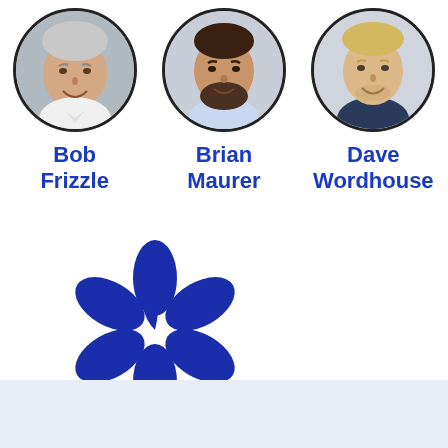[Figure (photo): Circular portrait photo of Bob Frizzle, an older man with gray hair, smiling, wearing a suit]
Bob
Frizzle
[Figure (photo): Circular portrait photo of Brian Maurer, a middle-aged man with dark hair and beard, wearing a light blue shirt]
Brian
Maurer
[Figure (photo): Circular portrait photo of Dave Wordhouse, a younger man with blond hair, smiling, wearing a dark shirt]
Dave
Wordhouse
[Figure (logo): Blue asterisk/snowflake-like logo with six rounded petal shapes]
All